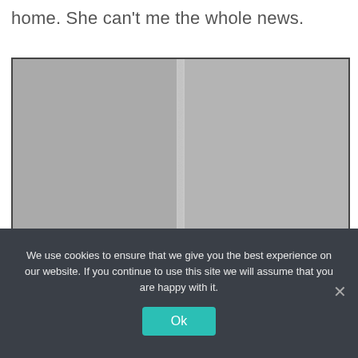home. She can't me the whole news.
[Figure (photo): Close-up photograph of a gray/beige textured wall with a vertical seam or crack running down the center. The wall surface appears speckled or grainy. A watermark reading 'mommymindy.wordpress.com' is visible in the bottom right corner.]
We use cookies to ensure that we give you the best experience on our website. If you continue to use this site we will assume that you are happy with it.